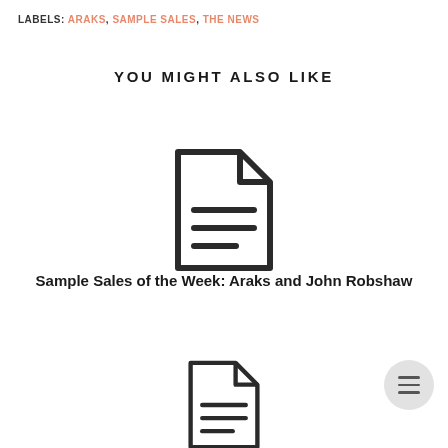LABELS: ARAKS, SAMPLE SALES, THE NEWS
YOU MIGHT ALSO LIKE
[Figure (illustration): Document/article icon showing a page with text lines]
Sample Sales of the Week: Araks and John Robshaw
[Figure (illustration): Document/article icon showing a page with text lines (partially visible)]